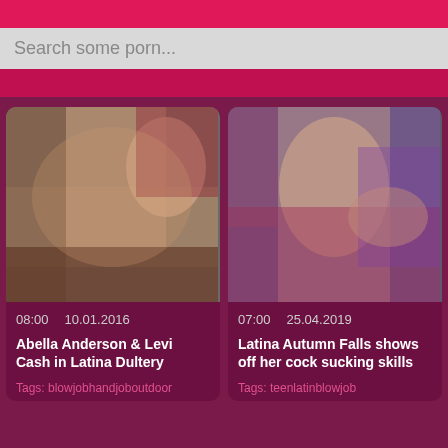Search some porn...
[Figure (photo): Thumbnail photo for adult video: Abella Anderson & Levi Cash in Latina Dultery]
08:00   10.01.2016
Abella Anderson & Levi Cash in Latina Dultery
Tags: blowjobhandjoboutdoor
[Figure (photo): Thumbnail photo for adult video: Latina Autumn Falls shows off her cock sucking skills]
07:00   25.04.2019
Latina Autumn Falls shows off her cock sucking skills
Tags: teenlatinblowjob